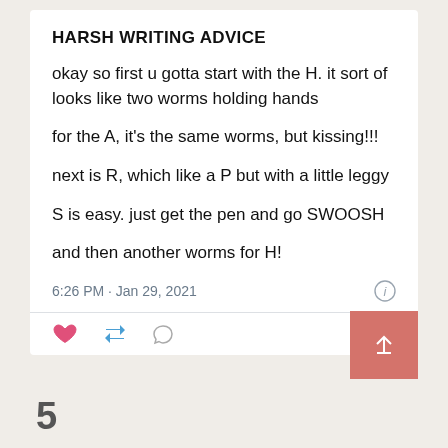HARSH WRITING ADVICE
okay so first u gotta start with the H. it sort of looks like two worms holding hands
for the A, it's the same worms, but kissing!!!
next is R, which like a P but with a little leggy
S is easy. just get the pen and go SWOOSH
and then another worms for H!
6:26 PM · Jan 29, 2021